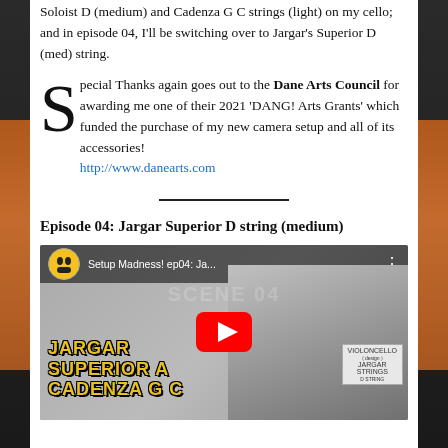Soloist D (medium) and Cadenza G C strings (light) on my cello; and in episode 04, I'll be switching over to Jargar's Superior D (med) string.
Special Thanks again goes out to the Dane Arts Council for awarding me one of their 2021 'DANG! Arts Grants' which funded the purchase of my new camera setup and all of its accessories! http://www.danearts.com
Episode 04: Jargar Superior D string (medium)
[Figure (screenshot): YouTube video thumbnail for 'Setup Madness! ep04: Ja...' showing a person holding a Jargar Strings packet, with text overlay 'JARGAR Superior A Cadenza G C' in yellow outlined letters, and a YouTube play button.]